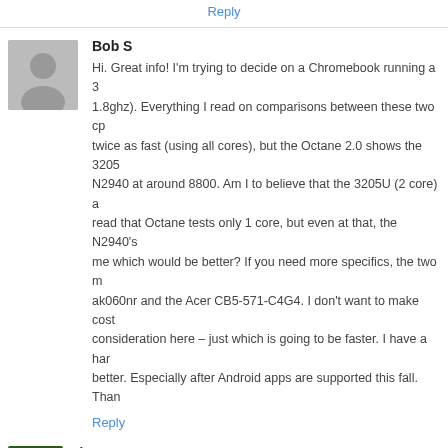Reply
Bob S
Hi. Great info! I'm trying to decide on a Chromebook running a 32... 1.8ghz). Everything I read on comparisons between these two cp... twice as fast (using all cores), but the Octane 2.0 shows the 3205... N2940 at around 8800. Am I to believe that the 3205U (2 core) a... read that Octane tests only 1 core, but even at that, the N2940's... me which would be better? If you need more specifics, the two m... ak060nr and the Acer CB5-571-C4G4. I don't want to make cost... consideration here – just which is going to be faster. I have a har... better. Especially after Android apps are supported this fall. Than...
Reply
zipso
Hi Bob, thanks for the comment,
I think since the chip architectures are quite differ... not going to have a high importance.
The N... Bay Trail b... a... l...